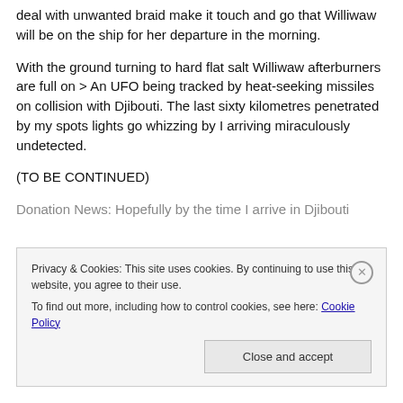deal with unwanted braid make it touch and go that Williwaw will be on the ship for her departure in the morning.
With the ground turning to hard flat salt Williwaw afterburners are full on > An UFO being tracked by heat-seeking missiles on collision with Djibouti. The last sixty kilometres penetrated by my spots lights go whizzing by I arriving miraculously undetected.
(TO BE CONTINUED)
Donation News: Hopefully by the time I arrive in Djibouti
Privacy & Cookies: This site uses cookies. By continuing to use this website, you agree to their use.
To find out more, including how to control cookies, see here: Cookie Policy